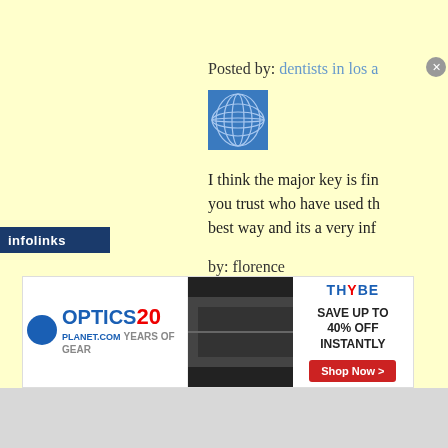Posted by: dentists in los a
[Figure (illustration): Blue avatar icon with circular web/mesh pattern]
I think the major key is fin... you trust who have used th... best way and its a very inf...
by: florence
Posted by: dentists in los a
[Figure (illustration): Green avatar icon with web/mesh pattern]
[Figure (screenshot): Advertisement banner: Optics Planet 20 years of gear. THYBE SAVE UP TO 40% OFF INSTANTLY. Shop Now button.]